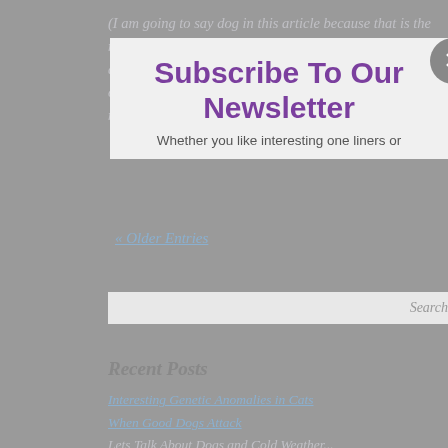(I am going to say dog in this article because that is the most commonly trained pet, but much of this blog applies to other pets as well) There are a lot of trainers out there, but they are not all created equally. There are no requirements for being a dog trainer ...
« Older Entries
Search
Recent Posts
Interesting Genetic Anomalies in Cats
When Good Dogs Attack
Lets Talk About Dogs and Cold Weather...
Pet Sitting Bunny*
Pet Parent Pointers for the Winter Holidays
Subscribe To Our Newsletter
Whether you like interesting one liners or